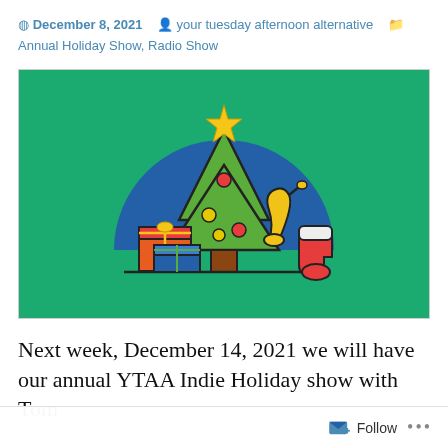December 8, 2021  your tuesday afternoon alternative  Annual Holiday Show, Radio Show
[Figure (illustration): Holiday illustration on a green background featuring a Christmas tree with ornaments and a star on top, blue circle backdrop, wrapped gift boxes in red/orange and blue/green, a yellow saxophone, and a red Christmas stocking.]
Next week, December 14, 2021 we will have our annual YTAA Indie Holiday show with Tom